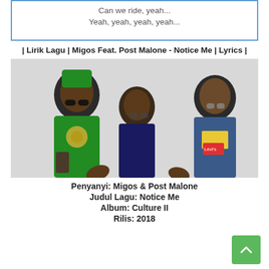Can we ride, yeah...
Yeah, yeah, yeah, yeah...
| Lirik Lagu | Migos Feat. Post Malone - Notice Me | Lyrics |
[Figure (photo): Photo of Migos group - three men posing together, one wearing green outfit on left, one in dark suit in center, one in denim jacket on right]
Penyanyi: Migos & Post Malone
Judul Lagu: Notice Me
Album: Culture II
Rilis: 2018